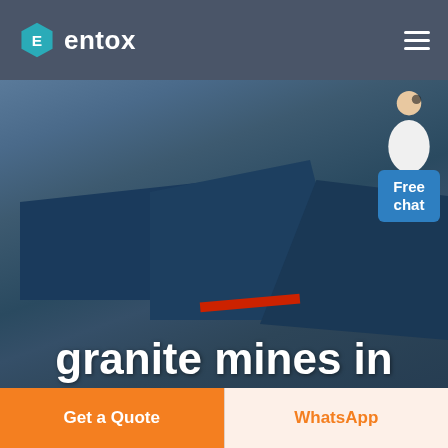[Figure (logo): Entox company logo: hexagonal teal icon with letter E, followed by white text 'entox']
[Figure (photo): Aerial view of industrial factory buildings with large blue rooftops, open fields in background, dark/dusk lighting]
granite mines in zhytomyr
[Figure (illustration): Customer service representative in white jacket with headset, pointing gesture, beside a blue 'Free chat' button]
Get a Quote
WhatsApp